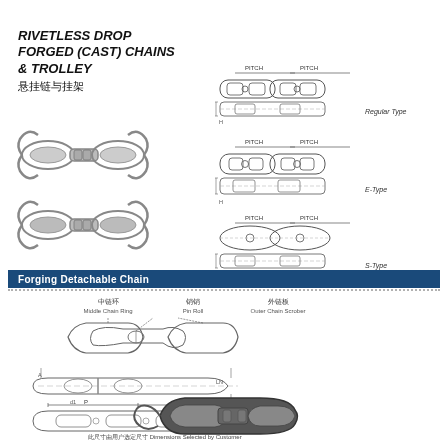RIVETLESS DROP FORGED (CAST) CHAINS & TROLLEY 悬挂链与挂架
[Figure (photo): Photograph of two rivetless drop forged chain assemblies, showing chain links and connectors]
[Figure (engineering-diagram): Technical engineering drawings of Regular Type, E-Type, and S-Type rivetless drop forged chains showing dimensional views with PITCH labels]
Forging Detachable Chain
[Figure (engineering-diagram): Exploded view diagram of forging detachable chain parts: Middle Chain Ring (中链环), Pin Roll (销销), Outer Chain Scrober (外链板). Includes dimensional side-view and top-view technical drawings. Caption: 此尺寸由用户选定尺寸 Dimensions Selected by Customer]
[Figure (photo): Photograph of a forging detachable chain component, showing the chain scober/link in dark metal finish]